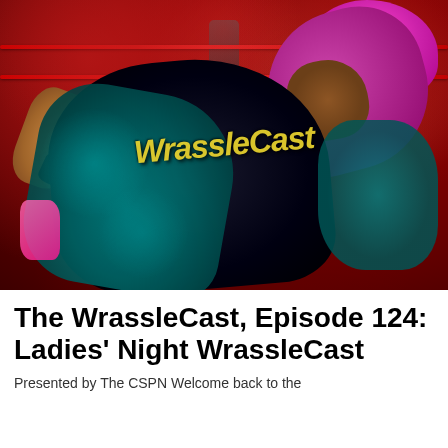[Figure (photo): Wrestling photo showing two women wrestlers in a grappling hold inside a WWE ring. One wrestler has bright pink/magenta hair and is applying a submission hold on the other. The other wrestler is wearing a teal/aqua outfit and has dark hair. A red crowd and ring ropes are visible in the background. The WrassleCast watermark is overlaid diagonally across the image.]
The WrassleCast, Episode 124: Ladies' Night WrassleCast
Presented by The CSPN Welcome back to the